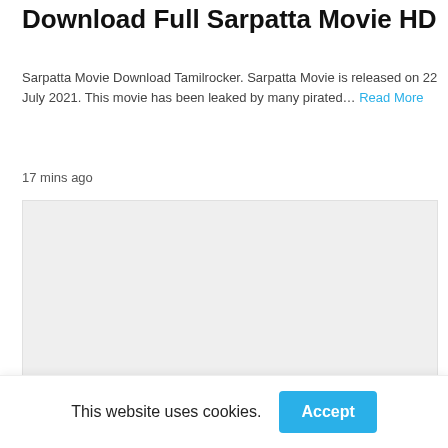Download Full Sarpatta Movie HD
Sarpatta Movie Download Tamilrocker. Sarpatta Movie is released on 22 July 2021. This movie has been leaked by many pirated… Read More
17 mins ago
[Figure (other): Gray placeholder image block]
ENTERTAINMENT
This website uses cookies. Accept